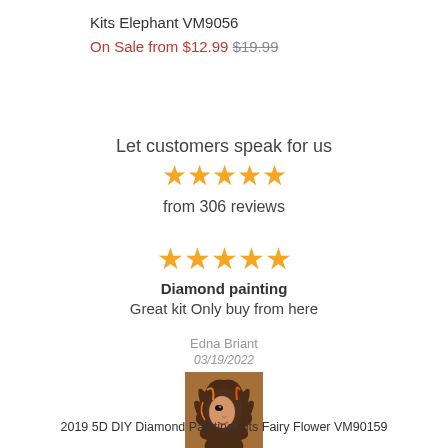Kits Elephant VM9056
On Sale from $12.99 $19.99
Let customers speak for us
[Figure (other): 5 orange star rating icons]
from 306 reviews
[Figure (other): 5 orange star rating icons for individual review]
Diamond painting
Great kit Only buy from here
Edna Briant
03/19/2022
[Figure (photo): Product photo: 2019 5D DIY Diamond Painting Kits Fairy Flower VM90159 - artwork of a woman with flowers]
2019 5D DIY Diamond Painting Kits Fairy Flower VM90159